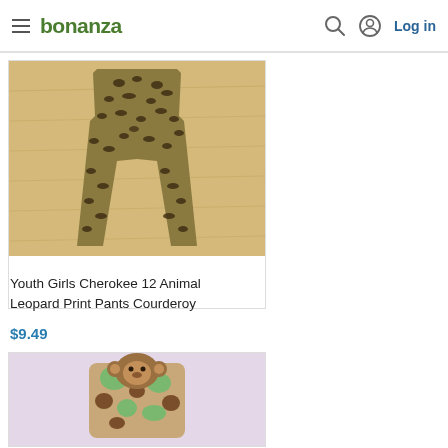bonanza — Log in
[Figure (photo): Animal leopard print pants (corduroy) laid flat on a wood floor — youth girls Cherokee size 12]
Youth Girls Cherokee 12 Animal Leopard Print Pants Courderoy
$9.49
[Figure (photo): Animal-themed children's outfit with monkey character hanging on a wall]